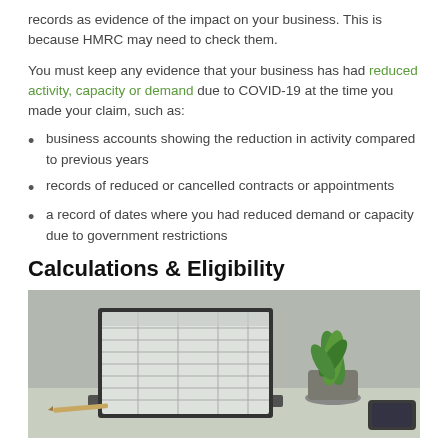records as evidence of the impact on your business. This is because HMRC may need to check them.
You must keep any evidence that your business has had reduced activity, capacity or demand due to COVID-19 at the time you made your claim, such as:
business accounts showing the reduction in activity compared to previous years
records of reduced or cancelled contracts or appointments
a record of dates where you had reduced demand or capacity due to government restrictions
Calculations & Eligibility
[Figure (photo): A laptop displaying a spreadsheet on a desk with a plant and a phone nearby]